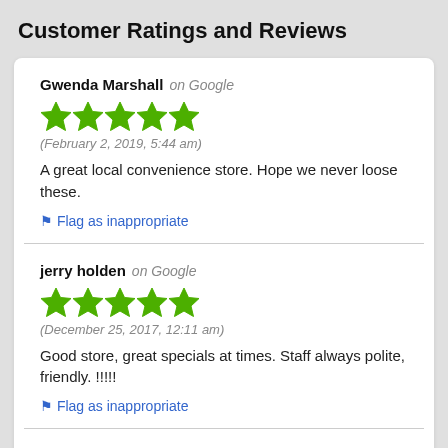Customer Ratings and Reviews
Gwenda Marshall on Google
★★★★★
(February 2, 2019, 5:44 am)
A great local convenience store. Hope we never loose these.
⚑ Flag as inappropriate
jerry holden on Google
★★★★★
(December 25, 2017, 12:11 am)
Good store, great specials at times. Staff always polite, friendly. !!!!!
⚑ Flag as inappropriate
Jag Girl on Google
★★★★☆